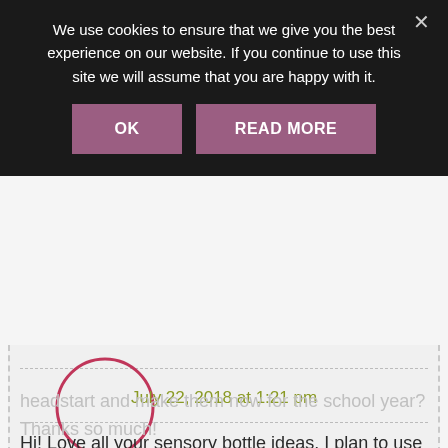We use cookies to ensure that we give you the best experience on our website. If you continue to use this site we will assume that you are happy with it.
[Figure (screenshot): Cookie consent overlay with black background, text about cookies, and two mauve/purple buttons labeled OK and READ MORE, with an X close button in the top right]
[Figure (illustration): Partial circle outline in pink/red (avatar placeholder) on a light gray comment card with dashed borders]
July 22, 2018 at 1:21 pm
Hi! Love all your sensory bottle ideas. I plan to use these in my classroom. About how long do these last? Would I need to make them right before school started, or could I get a
headstart and make them now for the school year? Thanks so much!